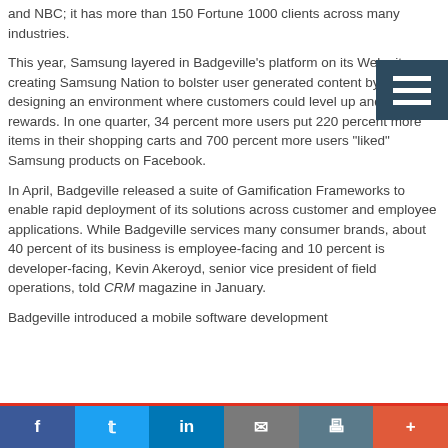and NBC; it has more than 150 Fortune 1000 clients across many industries.
This year, Samsung layered in Badgeville's platform on its Web site, creating Samsung Nation to bolster user generated content by designing an environment where customers could level up and earn rewards. In one quarter, 34 percent more users put 220 percent more items in their shopping carts and 700 percent more users "liked" Samsung products on Facebook.
In April, Badgeville released a suite of Gamification Frameworks to enable rapid deployment of its solutions across customer and employee applications. While Badgeville services many consumer brands, about 40 percent of its business is employee-facing and 10 percent is developer-facing, Kevin Akeroyd, senior vice president of field operations, told CRM magazine in January.
Badgeville introduced a mobile software development